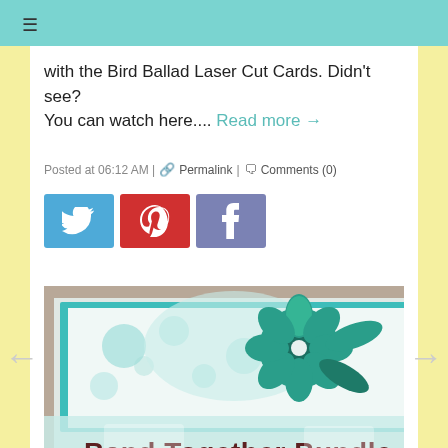≡
with the Bird Ballad Laser Cut Cards. Didn't see? You can watch here.... Read more →
Posted at 06:12 AM | 🔗 Permalink | 💬 Comments (0)
[Figure (screenshot): Social media share buttons: Twitter (blue), Pinterest (red), Facebook (purple/blue)]
[Figure (photo): Craft card image showing a teal/green floral design with text overlay 'Band Together Bundle' and date 'December 21, 2019']